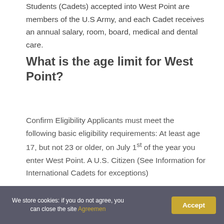Students (Cadets) accepted into West Point are members of the U.S Army, and each Cadet receives an annual salary, room, board, medical and dental care.
What is the age limit for West Point?
Confirm Eligibility Applicants must meet the following basic eligibility requirements: At least age 17, but not 23 or older, on July 1st of the year you enter West Point. A U.S. Citizen (See Information for International Cadets for exceptions)
Which military academic is
We store cookies: if you do not agree, you can close the site Agreemen
Accept